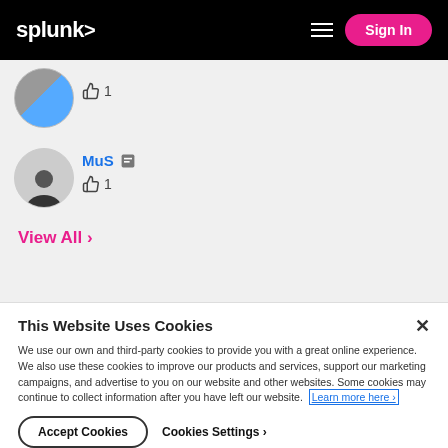splunk> Sign In
[Figure (photo): User avatar with gray/blue gradient circle]
👍 1
[Figure (photo): User avatar with person in dark clothing]
MuS 👤 👍 1
View All ›
This Website Uses Cookies
We use our own and third-party cookies to provide you with a great online experience. We also use these cookies to improve our products and services, support our marketing campaigns, and advertise to you on our website and other websites. Some cookies may continue to collect information after you have left our website. Learn more here ›
Accept Cookies
Cookies Settings ›